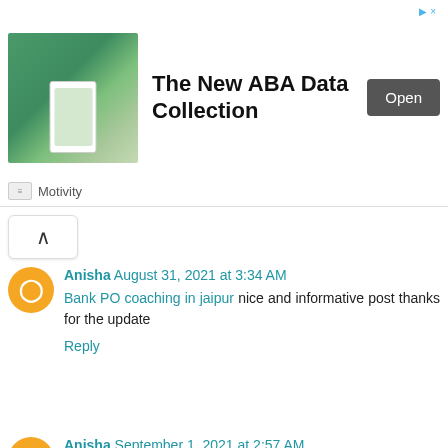[Figure (other): Advertisement banner for 'The New ABA Data Collection' by Motivity, with an image of people outdoors and an Open button]
Anisha August 31, 2021 at 3:34 AM
Bank PO coaching in jaipur nice and informative post thanks for the update
Reply
Anisha September 1, 2021 at 2:57 AM
Cordelia Cruises nice and informative post thanks for the update
Cordelia Cruises
https://triplou.com/cordelia-cruise/
Reply